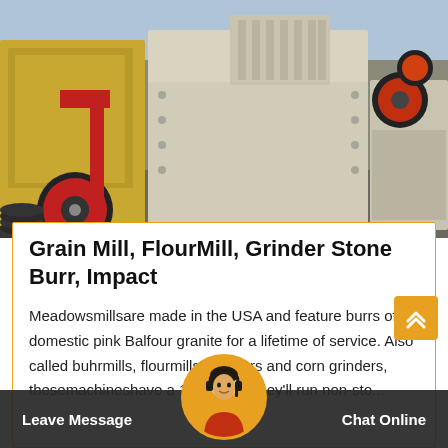[Figure (photo): Industrial grinding/milling machinery in a factory setting. Large beige/cream colored impact mill in center, yellow machinery with red wheels on left, additional crushers in background on right.]
Grain Mill, FlourMill, Grinder Stone Burr, Impact
Meadowsmillsare made in the USA and feature burrs of domestic pink Balfour granite for a lifetime of service. Also called buhrmills, flourmills, grinders and corn grinders, thesemachineshave a 100% ... so they'll run non-sto...
Leave Message
Chat Online